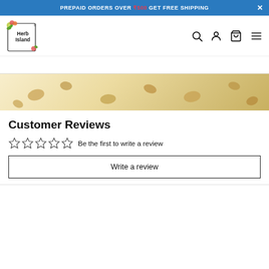PREPAID ORDERS OVER ₹500 GET FREE SHIPPING
[Figure (logo): Herb Island brand logo with floral decoration]
[Figure (photo): Close-up product photo showing nuts/seeds on creamy background]
Customer Reviews
☆☆☆☆☆  Be the first to write a review
Write a review